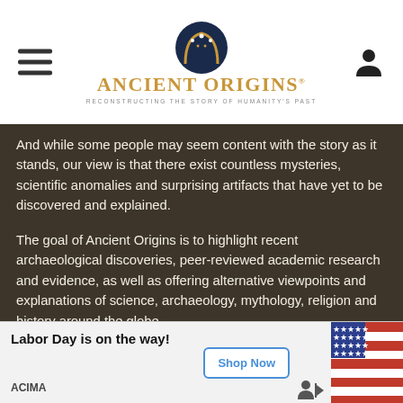Ancient Origins — Reconstructing the story of humanity's past
And while some people may seem content with the story as it stands, our view is that there exist countless mysteries, scientific anomalies and surprising artifacts that have yet to be discovered and explained.
The goal of Ancient Origins is to highlight recent archaeological discoveries, peer-reviewed academic research and evidence, as well as offering alternative viewpoints and explanations of science, archaeology, mythology, religion and history around the globe.
We're the only Pop Archaeology site combining scientific research with out-of-the-box perspectives.
By bringing together top experts and authors, this archaeology [site features ...] writings, tours [... and] questions mysterious happenings. Our open community is dedicated to digging into the origins of our species on planet earth, and question
[Figure (infographic): Advertisement banner: 'Labor Day is on the way!' with Shop Now button, ACIMA brand label, and American flags image on right side]